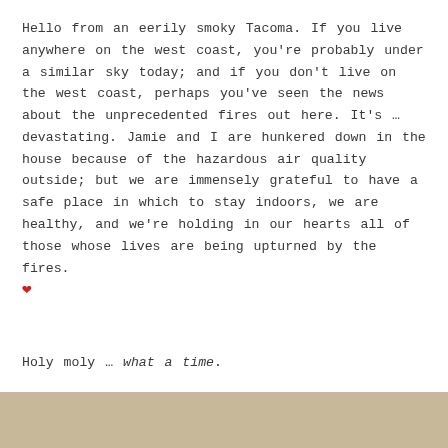Hello from an eerily smoky Tacoma. If you live anywhere on the west coast, you're probably under a similar sky today; and if you don't live on the west coast, perhaps you've seen the news about the unprecedented fires out here. It's … devastating. Jamie and I are hunkered down in the house because of the hazardous air quality outside; but we are immensely grateful to have a safe place in which to stay indoors, we are healthy, and we're holding in our hearts all of those whose lives are being upturned by the fires. ❤
Holy moly … what a time.
[Figure (photo): Tan/beige colored image at the bottom of the page, partially visible]